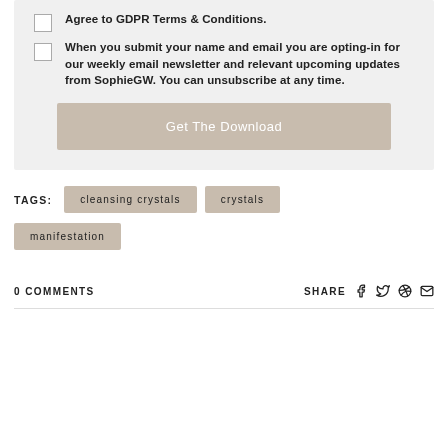Agree to GDPR Terms & Conditions.
When you submit your name and email you are opting-in for our weekly email newsletter and relevant upcoming updates from SophieGW. You can unsubscribe at any time.
Get The Download
TAGS:  cleansing crystals  crystals  manifestation
0 COMMENTS
SHARE